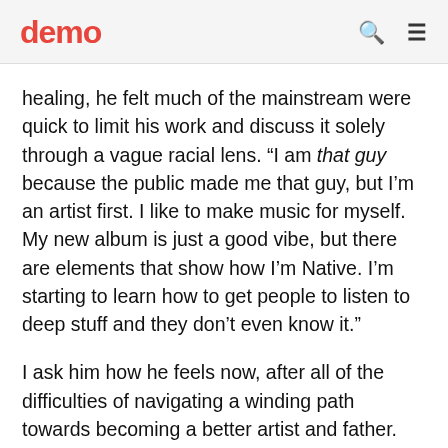demo
healing, he felt much of the mainstream were quick to limit his work and discuss it solely through a vague racial lens. “I am that guy because the public made me that guy, but I’m an artist first. I like to make music for myself. My new album is just a good vibe, but there are elements that show how I’m Native. I’m starting to learn how to get people to listen to deep stuff and they don’t even know it.”
I ask him how he feels now, after all of the difficulties of navigating a winding path towards becoming a better artist and father.